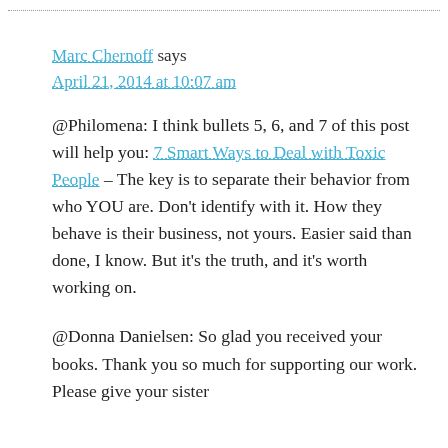Marc Chernoff says
April 21, 2014 at 10:07 am
@Philomena: I think bullets 5, 6, and 7 of this post will help you: 7 Smart Ways to Deal with Toxic People – The key is to separate their behavior from who YOU are. Don't identify with it. How they behave is their business, not yours. Easier said than done, I know. But it's the truth, and it's worth working on.
@Donna Danielsen: So glad you received your books. Thank you so much for supporting our work. Please give your sister